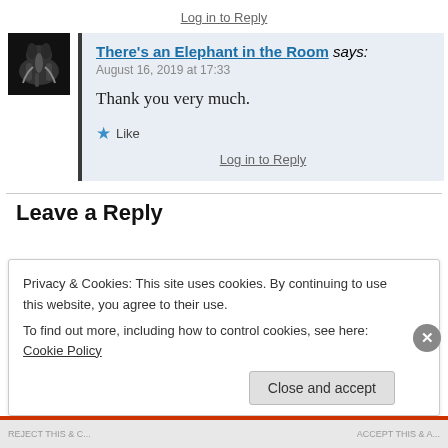Log in to Reply
There's an Elephant in the Room says:
August 16, 2019 at 17:33
Thank you very much.
★ Like
Log in to Reply
Leave a Reply
Privacy & Cookies: This site uses cookies. By continuing to use this website, you agree to their use.
To find out more, including how to control cookies, see here: Cookie Policy
Close and accept